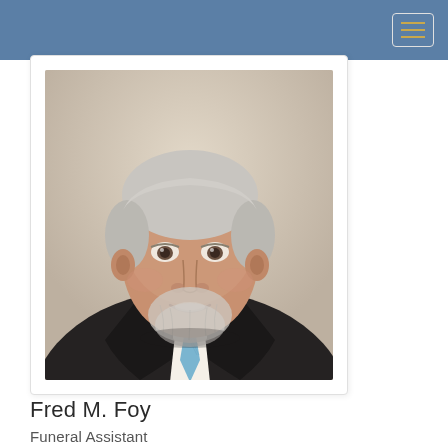[Figure (photo): Professional headshot of Fred M. Foy, an older gentleman with white/gray hair and a short white beard, wearing a dark suit jacket, white dress shirt, and light blue tie, photographed against a neutral beige background]
Fred M. Foy
Funeral Assistant